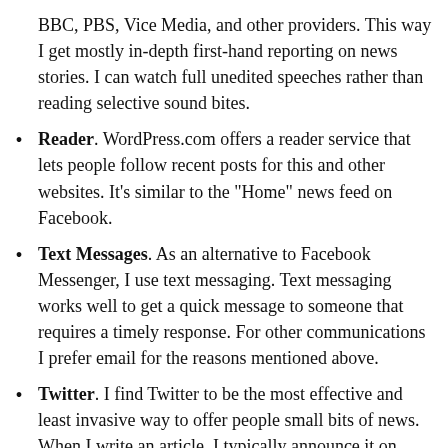BBC, PBS, Vice Media, and other providers. This way I get mostly in-depth first-hand reporting on news stories. I can watch full unedited speeches rather than reading selective sound bites.
Reader. WordPress.com offers a reader service that lets people follow recent posts for this and other websites. It’s similar to the “Home” news feed on Facebook.
Text Messages. As an alternative to Facebook Messenger, I use text messaging. Text messaging works well to get a quick message to someone that requires a timely response. For other communications I prefer email for the reasons mentioned above.
Twitter. I find Twitter to be the most effective and least invasive way to offer people small bits of news. When I write an article, I typically announce it on Twitter. I can also post smaller comments that